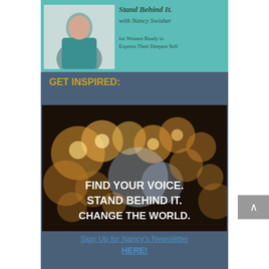[Figure (photo): Partial top banner with teal background showing a woman in a teal cardigan and text 'Stand Behind It. with Nancy Swisher for Women Ready to Express Their Deepest Self']
GET INSPIRED:
[Figure (photo): Bokeh lights photograph with text overlay: FIND YOUR VOICE. STAND BEHIND IT. CHANGE THE WORLD.]
Sign Up for Nancy's Newsletter HERE!